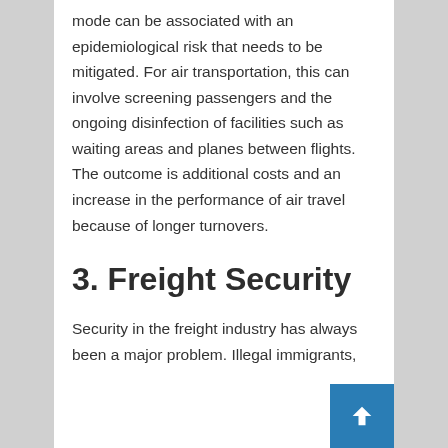mode can be associated with an epidemiological risk that needs to be mitigated. For air transportation, this can involve screening passengers and the ongoing disinfection of facilities such as waiting areas and planes between flights. The outcome is additional costs and an increase in the performance of air travel because of longer turnovers.
3. Freight Security
Security in the freight industry has always been a major problem. Illegal immigrants,